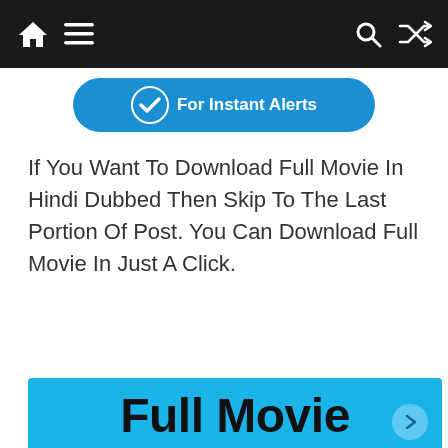Navigation bar with home, menu, search, and shuffle icons
[Figure (other): Blue rounded button with checkmark icon and text 'For Instant Alerts']
If You Want To Download Full Movie In Hindi Dubbed Then Skip To The Last Portion Of Post. You Can Download Full Movie In Just A Click.
[Figure (other): Blue banner with large bold text reading 'Full Movie Download Coolmoviez']